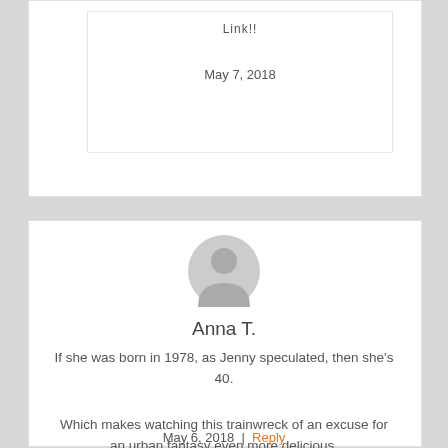Link!!
May 7, 2018
[Figure (illustration): Generic user avatar icon — grey silhouette of a person on light grey circle background]
Anna T.
If she was born in 1978, as Jenny speculated, then she's 40.
Which makes watching this trainwreck of an excuse for an urban fantasy even more delicious.
May 6, 2018 | Reply